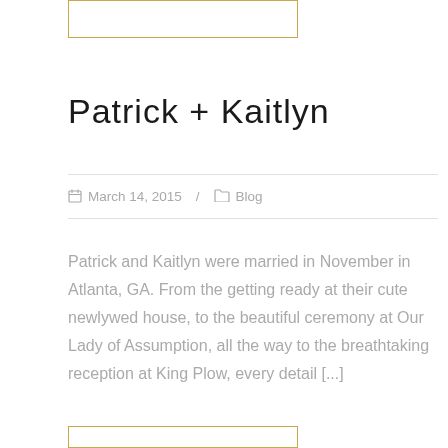[Figure (other): Top image placeholder with gold border]
Patrick + Kaitlyn
March 14, 2015 / Blog
Patrick and Kaitlyn were married in November in Atlanta, GA. From the getting ready at their cute newlywed house, to the beautiful ceremony at Our Lady of Assumption, all the way to the breathtaking reception at King Plow, every detail [...]
[Figure (other): Bottom image placeholder with gold border]